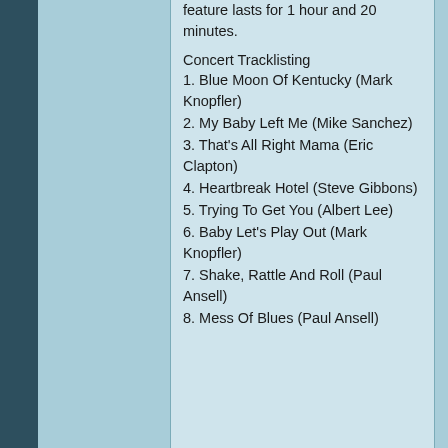feature lasts for 1 hour and 20 minutes.
Concert Tracklisting
1. Blue Moon Of Kentucky (Mark Knopfler)
2. My Baby Left Me (Mike Sanchez)
3. That's All Right Mama (Eric Clapton)
4. Heartbreak Hotel (Steve Gibbons)
5. Trying To Get You (Albert Lee)
6. Baby Let's Play Out (Mark Knopfler)
7. Shake, Rattle And Roll (Paul Ansell)
8. Mess Of Blues (Paul Ansell)